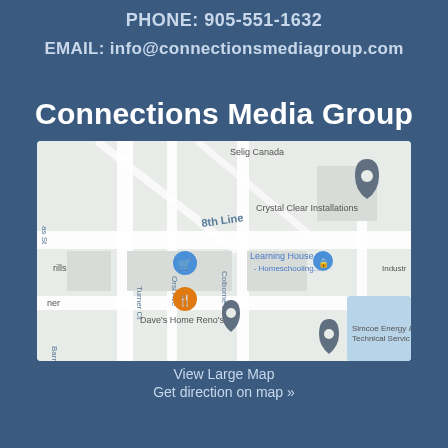PHONE: 905-551-1632
EMAIL: info@connectionsmediagroup.com
Connections Media Group
[Figure (map): Google Maps embed showing location near 8th Line area with landmarks: Crystal Clear Installations, Learning House Inc - Homeschooling..., Dave's Home Reno's, Simcoe Energy & Technical Servic, Selig Canada, and various street labels including Turner Ct, Orsi Ave, Colborne St, Lee Ave, Barrie St.]
View Large Map
Get direction on map »